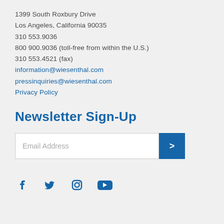1399 South Roxbury Drive
Los Angeles, California 90035
310 553.9036
800 900.9036 (toll-free from within the U.S.)
310 553.4521 (fax)
information@wiesenthal.com
pressinquiries@wiesenthal.com
Privacy Policy
Newsletter Sign-Up
Email Address
[Figure (other): Social media icons: Facebook, Twitter, Instagram, YouTube]